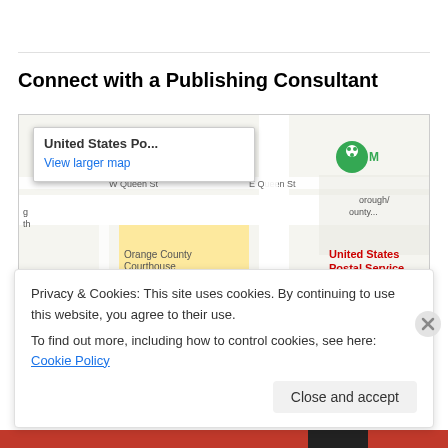Connect with a Publishing Consultant
[Figure (map): Google Maps screenshot showing United States Postal Service location near Orange County Courthouse. Map shows streets including W Queen St, E Queen St, S Churton St, Burnside Dr. Features a red location pin labeled 'United States Postal Service', blue location markers for Orange County Courthouse and county Public Library, green Monocle marker, zoom controls (+/-). A popup tooltip shows 'United States Po...' with 'View larger map' link.]
Privacy & Cookies: This site uses cookies. By continuing to use this website, you agree to their use.
To find out more, including how to control cookies, see here: Cookie Policy